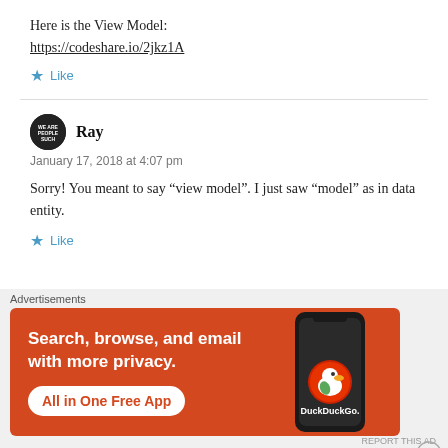Here is the View Model:
https://codeshare.io/2jkz1A
Like
Ray
January 17, 2018 at 4:07 pm
Sorry! You meant to say “view model”. I just saw “model” as in data entity.
Like
[Figure (infographic): DuckDuckGo advertisement banner with orange background. Text reads: Search, browse, and email with more privacy. All in One Free App. Shows DuckDuckGo logo on a smartphone graphic.]